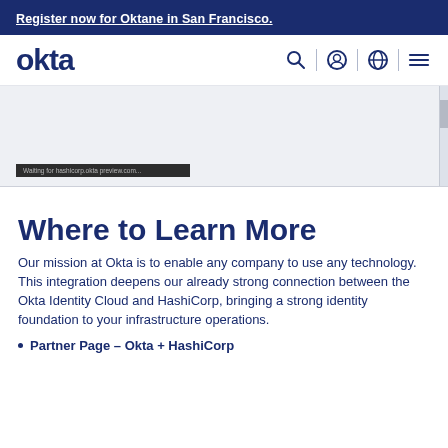Register now for Oktane in San Francisco.
[Figure (logo): Okta logo and navigation bar with search, user, globe, and menu icons]
[Figure (screenshot): Loading screenshot area with a dark status bar at the bottom showing a URL loading message, and a vertical scrollbar on the right]
Where to Learn More
Our mission at Okta is to enable any company to use any technology. This integration deepens our already strong connection between the Okta Identity Cloud and HashiCorp, bringing a strong identity foundation to your infrastructure operations.
Partner Page – Okta + HashiCorp